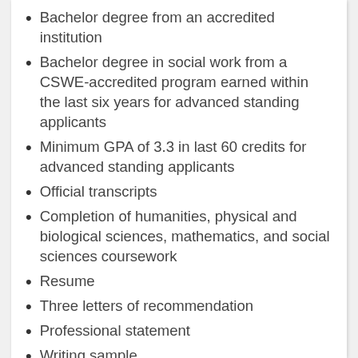Bachelor degree from an accredited institution
Bachelor degree in social work from a CSWE-accredited program earned within the last six years for advanced standing applicants
Minimum GPA of 3.3 in last 60 credits for advanced standing applicants
Official transcripts
Completion of humanities, physical and biological sciences, mathematics, and social sciences coursework
Resume
Three letters of recommendation
Professional statement
Writing sample
Learn more about the Master of Social Work (MSW) from University of Central